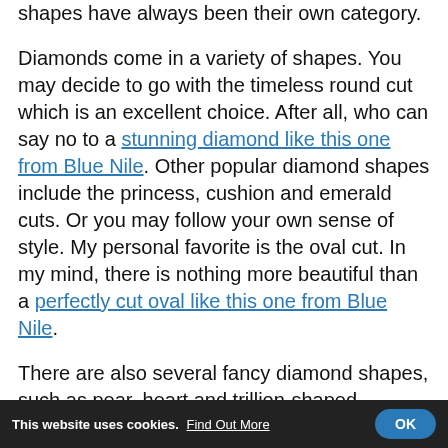shapes have always been their own category.
Diamonds come in a variety of shapes. You may decide to go with the timeless round cut which is an excellent choice. After all, who can say no to a stunning diamond like this one from Blue Nile. Other popular diamond shapes include the princess, cushion and emerald cuts. Or you may follow your own sense of style. My personal favorite is the oval cut. In my mind, there is nothing more beautiful than a perfectly cut oval like this one from Blue Nile.
There are also several fancy diamond shapes, such as pear, heart and trillion-shaped diamonds. Each shape has its own advantages and disadvantages, from its appearance and brilliance to the price pay per carat.
This website uses cookies. Find Out More  OK